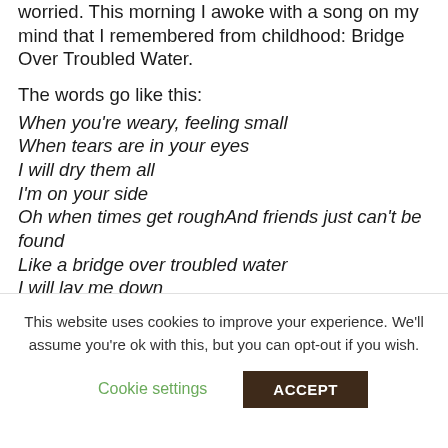worried. This morning I awoke with a song on my mind that I remembered from childhood: Bridge Over Troubled Water.
The words go like this:
When you're weary, feeling small
When tears are in your eyes
I will dry them all
I'm on your side
Oh when times get roughAnd friends just can't be found
Like a bridge over troubled water
I will lay me down
Like a bridge over troubled water
I will lay me down
This website uses cookies to improve your experience. We'll assume you're ok with this, but you can opt-out if you wish.
Cookie settings
ACCEPT